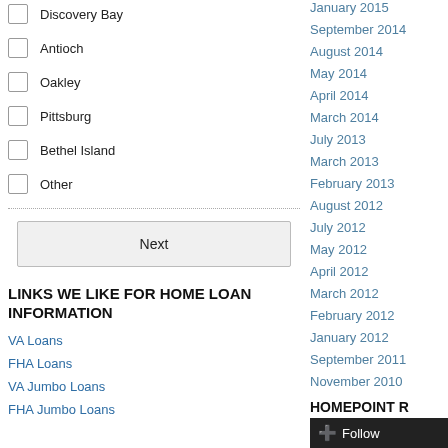Discovery Bay
Antioch
Oakley
Pittsburg
Bethel Island
Other
Next
LINKS WE LIKE FOR HOME LOAN INFORMATION
VA Loans
FHA Loans
VA Jumbo Loans
FHA Jumbo Loans
January 2015
September 2014
August 2014
May 2014
April 2014
March 2014
July 2013
March 2013
February 2013
August 2012
July 2012
May 2012
April 2012
March 2012
February 2012
January 2012
September 2011
November 2010
HOMEPOINT R
BRE License # 0149
CA